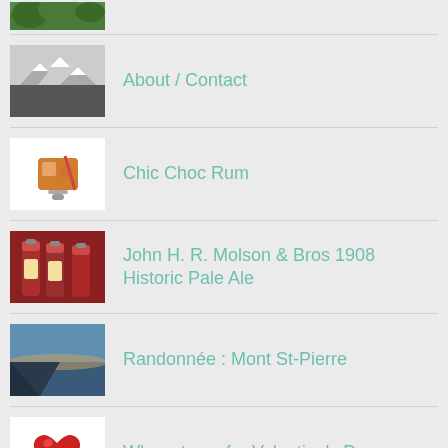[Figure (photo): Partial thumbnail of a nature/forest scene at top of page]
About / Contact
Chic Choc Rum
John H. R. Molson & Bros 1908 Historic Pale Ale
Randonnée : Mont St-Pierre
Where to go for Valentine's Day
Take-Out: Au Pied de Cochon
[Figure (photo): Partial thumbnail at bottom of page]